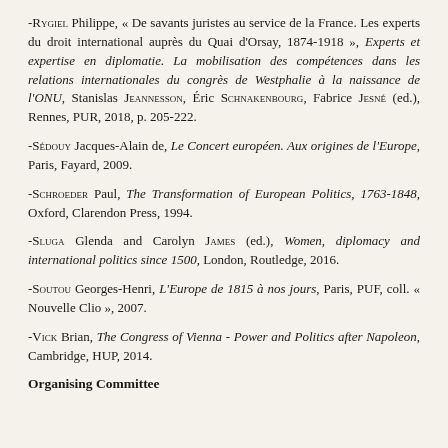-Rygiel Philippe, « De savants juristes au service de la France. Les experts du droit international auprès du Quai d'Orsay, 1874-1918 », Experts et expertise en diplomatie. La mobilisation des compétences dans les relations internationales du congrès de Westphalie à la naissance de l'ONU, Stanislas Jeannesson, Éric Schnakenbourg, Fabrice Jesné (ed.), Rennes, PUR, 2018, p. 205-222.
-Sédouy Jacques-Alain de, Le Concert européen. Aux origines de l'Europe, Paris, Fayard, 2009.
-Schroeder Paul, The Transformation of European Politics, 1763-1848, Oxford, Clarendon Press, 1994.
-Sluga Glenda and Carolyn James (ed.), Women, diplomacy and international politics since 1500, London, Routledge, 2016.
-Soutou Georges-Henri, L'Europe de 1815 à nos jours, Paris, PUF, coll. « Nouvelle Clio », 2007.
-Vick Brian, The Congress of Vienna - Power and Politics after Napoleon, Cambridge, HUP, 2014.
Organising Committee